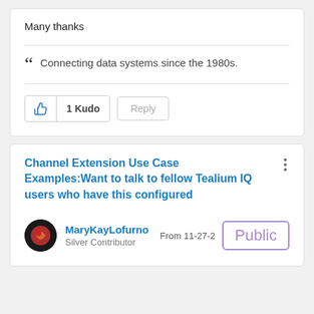Many thanks
Connecting data systems since the 1980s.
1 Kudo
Reply
Channel Extension Use Case Examples:Want to talk to fellow Tealium IQ users who have this configured
MaryKayLofurno
Silver Contributor
From 11-27-2
Public